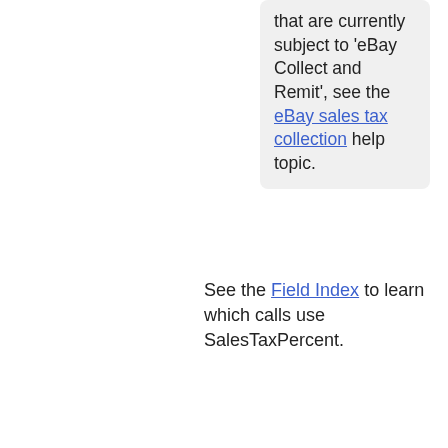that are currently subject to 'eBay Collect and Remit', see the eBay sales tax collection help topic.
See the Field Index to learn which calls use SalesTaxPercent.